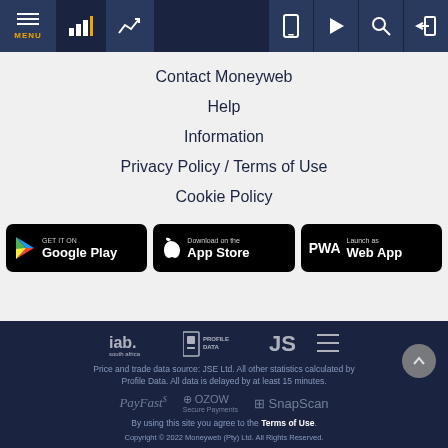MENU | [chart icon] | [trend icon] | [phone icon] | [play icon] | [search icon] | [login icon]
Contact Moneyweb
Help
Information
Privacy Policy / Terms of Use
Cookie Policy
[Figure (screenshot): Three app download buttons: GET IT ON Google Play, Download on the App Store, Launch as Web App (PWA)]
iab. south africa | PROFILE DATA | JSE logos. Price and trade data source: JSE Ltd. All other statistics calculated by Profile Data. All data is delayed by at least 15 minutes. PayFast | OZOW Secure Payments | SnapScan. By using this site you agree to the Terms of Use. Copyright © 2022 Moneyweb (Pty) Ltd. All Rights Reserved.